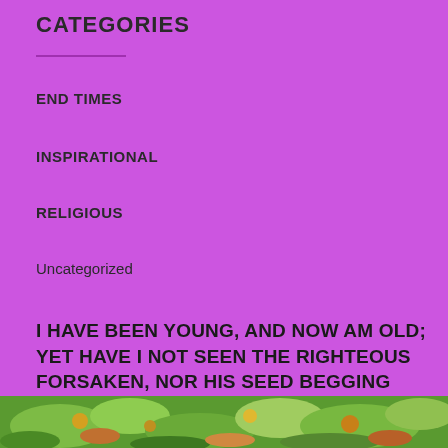CATEGORIES
END TIMES
INSPIRATIONAL
RELIGIOUS
Uncategorized
I HAVE BEEN YOUNG, AND NOW AM OLD; YET HAVE I NOT SEEN THE RIGHTEOUS FORSAKEN, NOR HIS SEED BEGGING BREAD. PSALM 37:25
[Figure (photo): Partial view of a food or plant photograph at the bottom of the page, showing green and colorful vegetation/food items]